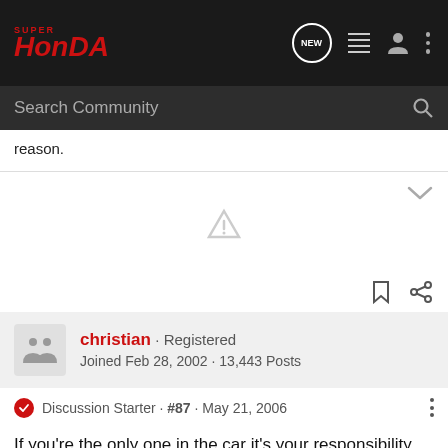Super Honda - Navigation bar with logo, new messages, list, user, and menu icons
Search Community
reason.
[Figure (other): Warning triangle icon (greyed out) in a collapsed/hidden content area, with a chevron-down arrow on the right]
christian · Registered
Joined Feb 28, 2002 · 13,443 Posts
Discussion Starter · #87 · May 21, 2006
If you're the only one in the car it's your responsibility, end of story. Most cops won't take someone to jail for what you